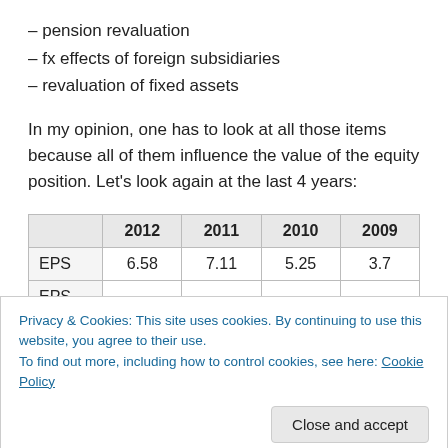– pension revaluation
– fx effects of foreign subsidiaries
– revaluation of fixed assets
In my opinion, one has to look at all those items because all of them influence the value of the equity position. Let's look again at the last 4 years:
|  | 2012 | 2011 | 2010 | 2009 |
| --- | --- | --- | --- | --- |
| EPS | 6.58 | 7.11 | 5.25 | 3.7 |
| EPS |  |  |  |  |
Privacy & Cookies: This site uses cookies. By continuing to use this website, you agree to their use.
To find out more, including how to control cookies, see here: Cookie Policy
Close and accept
perspective. This is mostly the result of pension